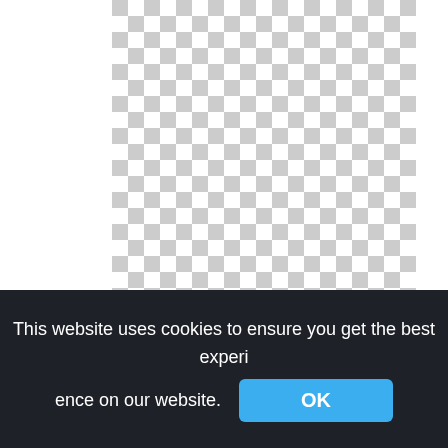[Figure (other): Checkerboard transparency pattern (grey and white squares) indicating a transparent PNG image placeholder]
Stencils, Graduation, Castles, Stenciling, College, Graduation Card For Girls,graduation hat png
This website uses cookies to ensure you get the best experience on our website. OK